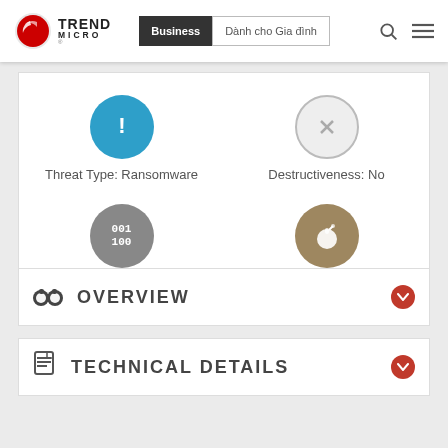[Figure (logo): Trend Micro logo with red swirl icon and TREND MICRO text]
Business | Dành cho Gia đình
[Figure (infographic): Four icons in 2x2 grid: Threat Type Ransomware (blue exclamation circle), Destructiveness No (gray X circle), Encrypted Yes (dark binary code circle), In the wild Yes (tan bomb circle)]
Threat Type: Ransomware
Destructiveness: No
Encrypted: Yes
In the wild: Yes
OVERVIEW
TECHNICAL DETAILS